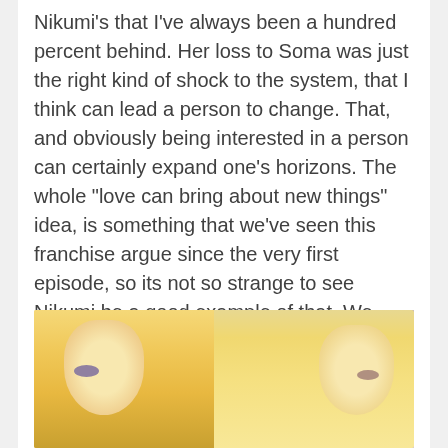Nikumi's that I've always been a hundred percent behind. Her loss to Soma was just the right kind of shock to the system, that I think can lead a person to change. That, and obviously being interested in a person can certainly expand one's horizons. The whole “love can bring about new things” idea, is something that we’ve seen this franchise argue since the very first episode, so its not so strange to see Nikumi be a good example of that. We also know that Erina herself is perhaps also developing feelings for Soma.
[Figure (photo): Anime screenshot showing two blonde female characters side by side, appearing to be from the anime Shokugeki no Soma (Food Wars). The characters have large expressive eyes and blonde hair, with a blurred floral background.]